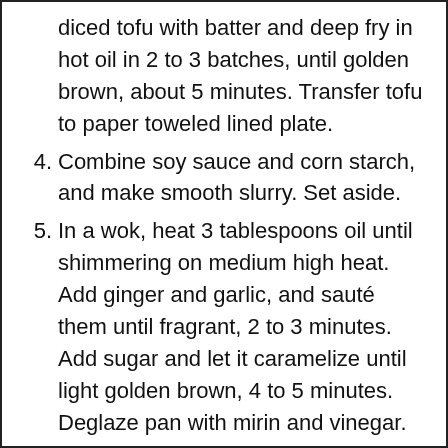diced tofu with batter and deep fry in hot oil in 2 to 3 batches, until golden brown, about 5 minutes. Transfer tofu to paper toweled lined plate.
4. Combine soy sauce and corn starch, and make smooth slurry. Set aside.
5. In a wok, heat 3 tablespoons oil until shimmering on medium high heat. Add ginger and garlic, and sauté them until fragrant, 2 to 3 minutes. Add sugar and let it caramelize until light golden brown, 4 to 5 minutes. Deglaze pan with mirin and vinegar. Let everything cook for 2 to 3